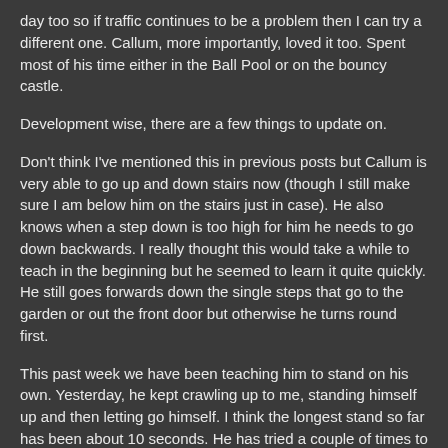day too so if traffic continues to be a problem then I can try a different one. Callum, more importantly, loved it too. Spent most of his time either in the Ball Pool or on the bouncy castle.
Development wise, there are a few things to update on.
Don't think I've mentioned this in previous posts but Callum is very able to go up and down stairs now (though I still make sure I am below him on the stairs just in case). He also knows when a step down is too high for him he needs to go down backwards. I really thought this would take a while to teach in the beginning but he seemed to learn it quite quickly. He still goes forwards down the single steps that go to the garden or out the front door but otherwise he turns round first.
This past week we have been teaching him to stand on his own. Yesterday, he kept crawling up to me, standing himself up and then letting go himself. I think the longest stand so far has been about 10 seconds. He has tried a couple of times to stand up himself from crawling. He pushes his knees up